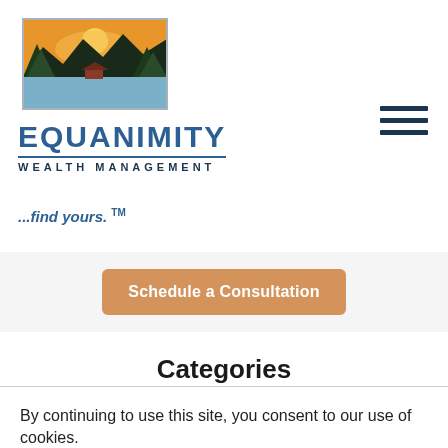[Figure (logo): Equanimity Wealth Management logo with mountain landscape painting and company name]
...find yours. ™
Schedule a Consultation
Categories
ALL
By continuing to use this site, you consent to our use of cookies.
ACCEPT